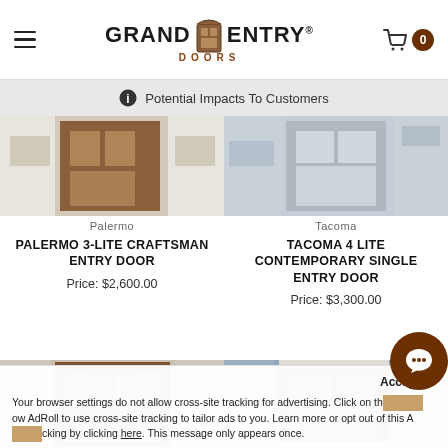Grand Entry Doors
ⓘ Potential Impacts To Customers
[Figure (photo): Palermo craftsman entry door with wood finish]
Palermo
PALERMO 3-LITE CRAFTSMAN ENTRY DOOR
Price: $2,600.00
[Figure (photo): Tacoma contemporary single entry door with light grey siding]
Tacoma
TACOMA 4 LITE CONTEMPORARY SINGLE ENTRY DOOR
Price: $3,300.00
[Figure (photo): Bottom left entry door product image]
[Figure (photo): Bottom right entry door product image with blue siding]
Accept
Your browser settings do not allow cross-site tracking for advertising. Click on this to allow AdRoll to use cross-site tracking to tailor ads to you. Learn more or opt out of this AdRoll tracking by clicking here. This message only appears once.